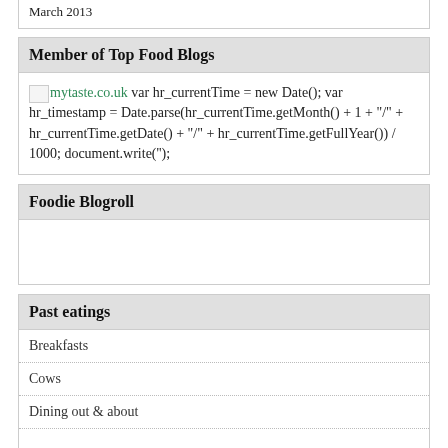March 2013
Member of Top Food Blogs
mytaste.co.uk var hr_currentTime = new Date(); var hr_timestamp = Date.parse(hr_currentTime.getMonth() + 1 + "/" + hr_currentTime.getDate() + "/" + hr_currentTime.getFullYear()) / 1000; document.write('');
Foodie Blogroll
Past eatings
Breakfasts
Cows
Dining out & about